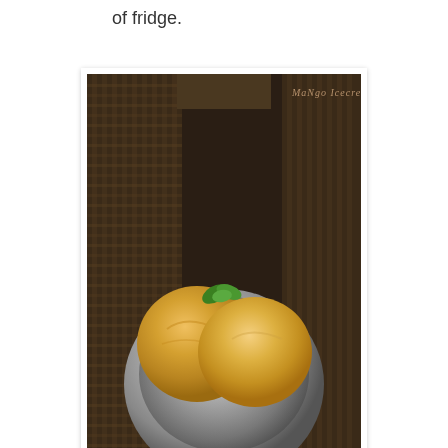of fridge.
[Figure (photo): Photo of mango ice cream — two golden-yellow scoops in a stainless steel bowl with mint leaf garnish, placed on a woven dark mat background. Watermark text 'Mango IcecreaM' in top right corner and 'Village Recipes' at bottom center.]